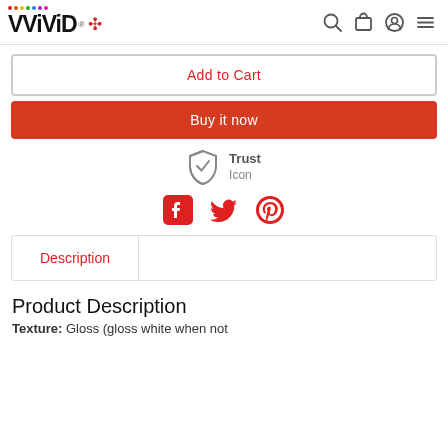VViViD® [logo with maple leaf and rainbow dots] [search icon] [cart icon] [account icon] [menu icon]
Add to Cart
Buy it now
[Figure (illustration): Trust shield icon with checkmark]
Trust
Icon
[Figure (illustration): Social media icons: Facebook, Twitter, Pinterest]
Description
Product Description
Texture: Gloss (gloss white when not